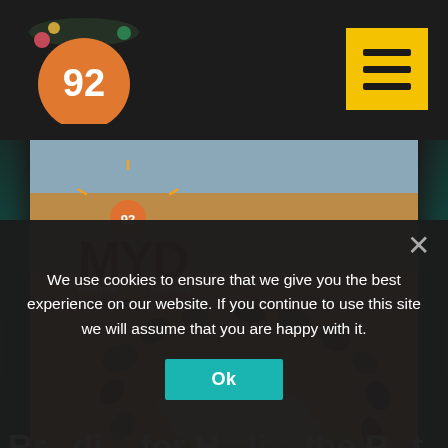92 MYD - Master Your Destiny - ART
[Figure (photo): Photo of a sand art installation showing a human figure lying within an oval shape made of stones arranged on sandy ground, with MYD 92 Master Your Destiny Art logo overlay in the top left corner]
Rr...di... for H...li... the P...t
We use cookies to ensure that we give you the best experience on our website. If you continue to use this site we will assume that you are happy with it.